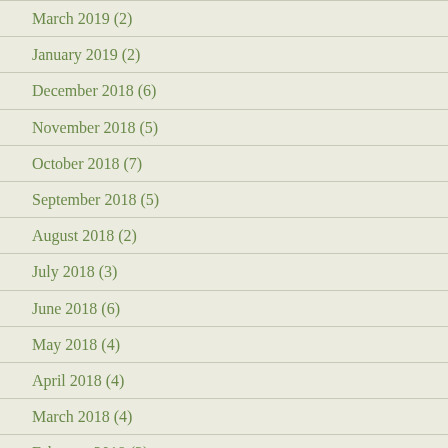March 2019 (2)
January 2019 (2)
December 2018 (6)
November 2018 (5)
October 2018 (7)
September 2018 (5)
August 2018 (2)
July 2018 (3)
June 2018 (6)
May 2018 (4)
April 2018 (4)
March 2018 (4)
February 2018 (3)
January 2018 (2)
December 2017 (2)